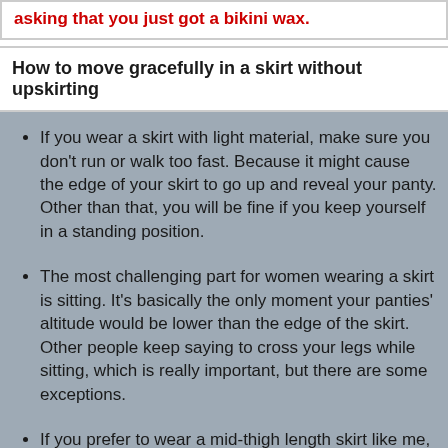asking that you just got a bikini wax.
How to move gracefully in a skirt without upskirting
If you wear a skirt with light material, make sure you don't run or walk too fast. Because it might cause the edge of your skirt to go up and reveal your panty. Other than that, you will be fine if you keep yourself in a standing position.
The most challenging part for women wearing a skirt is sitting. It's basically the only moment your panties' altitude would be lower than the edge of the skirt. Other people keep saying to cross your legs while sitting, which is really important, but there are some exceptions.
If you prefer to wear a mid-thigh length skirt like me, and you prefer a stiff material skirt like denim, when you cross legs, keep in mind that your hand stays in front of the gap between your